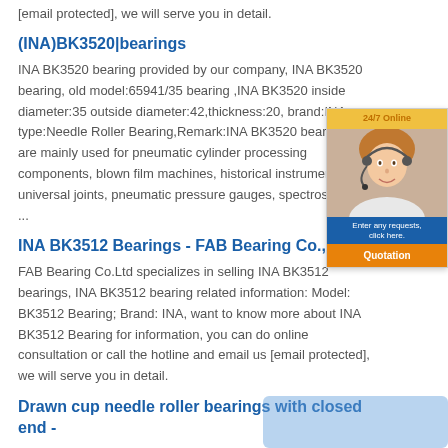[email protected], we will serve you in detail.
(INA)BK3520|bearings
INA BK3520 bearing provided by our company, INA BK3520 bearing, old model:65941/35 bearing ,INA BK3520 inside diameter:35 outside diameter:42,thickness:20, brand:INA, type:Needle Roller Bearing,Remark:INA BK3520 bearings are mainly used for pneumatic cylinder processing components, blown film machines, historical instruments, universal joints, pneumatic pressure gauges, spectroscopic ...
INA BK3512 Bearings - FAB Bearing Co.,
FAB Bearing Co.Ltd specializes in selling INA BK3512 bearings, INA BK3512 bearing related information: Model: BK3512 Bearing; Brand: INA, want to know more about INA BK3512 Bearing for information, you can do online consultation or call the hotline and email us [email protected], we will serve you in detail.
Drawn cup needle roller bearings with closed end -
The wizard will assist you in the selection of the correct bearing for your design. ... you can use the old designation to find the new uniform designation of INA and FAG. Heating Manager: Determines the suitable Heater for your bearing. ... BK3520 Drawn cup needle roller bearings with closed end to DIN 618/ISO 3245 . Accessories:
[Figure (other): 24/7 Online chat widget with agent photo, 'Enter your requests, click here.' text, and orange Quotation button]